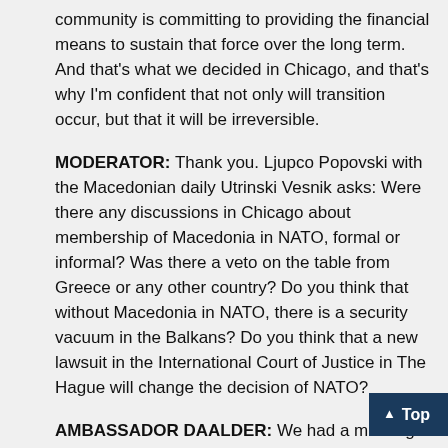community is committing to providing the financial means to sustain that force over the long term. And that's what we decided in Chicago, and that's why I'm confident that not only will transition occur, but that it will be irreversible.
MODERATOR: Thank you. Ljupco Popovski with the Macedonian daily Utrinski Vesnik asks: Were there any discussions in Chicago about membership of Macedonia in NATO, formal or informal? Was there a veto on the table from Greece or any other country? Do you think that without Macedonia in NATO, there is a security vacuum in the Balkans? Do you think that a new lawsuit in the International Court of Justice in The Hague will change the decision of NATO?
AMBASSADOR DAALDER: We had a meeting with all the countries that aspire to be members of NATO. The foreign ministers of the 28 NATO members met with the foreign ministers of Macedonia as well as Georgia, Montenegro, and Bosnia and Herzegovina in order to demonstrate that NATO's